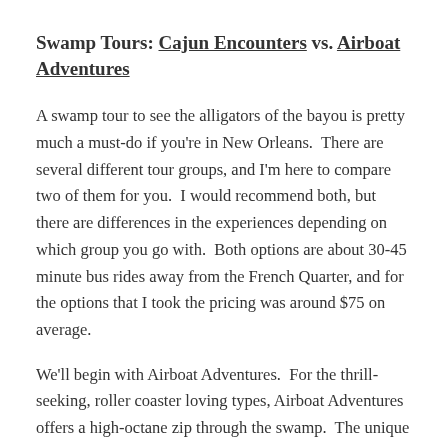Swamp Tours: Cajun Encounters vs. Airboat Adventures
A swamp tour to see the alligators of the bayou is pretty much a must-do if you're in New Orleans.  There are several different tour groups, and I'm here to compare two of them for you.  I would recommend both, but there are differences in the experiences depending on which group you go with.  Both options are about 30-45 minute bus rides away from the French Quarter, and for the options that I took the pricing was around $75 on average.
We'll begin with Airboat Adventures.  For the thrill-seeking, roller coaster loving types, Airboat Adventures offers a high-octane zip through the swamp.  The unique parts of Airboat Adventures?